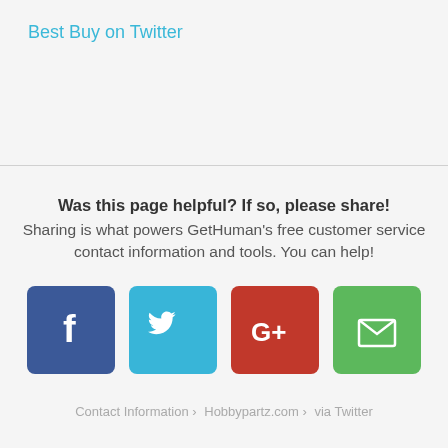Best Buy on Twitter
Was this page helpful? If so, please share!
Sharing is what powers GetHuman's free customer service contact information and tools. You can help!
[Figure (infographic): Four social share buttons: Facebook (blue, f icon), Twitter (light blue, bird icon), Google+ (red, G+ icon), Email (green, envelope icon)]
Contact Information › Hobbypartz.com › via Twitter